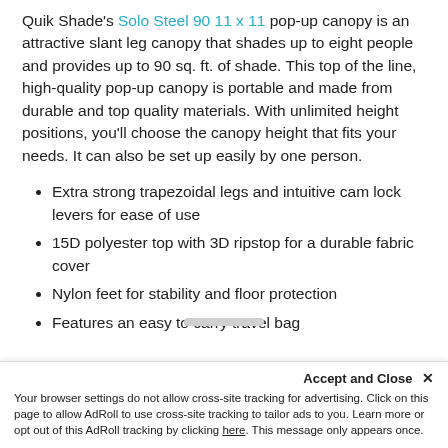Quik Shade's Solo Steel 90 11 x 11 pop-up canopy is an attractive slant leg canopy that shades up to eight people and provides up to 90 sq. ft. of shade. This top of the line, high-quality pop-up canopy is portable and made from durable and top quality materials. With unlimited height positions, you'll choose the canopy height that fits your needs. It can also be set up easily by one person.
Extra strong trapezoidal legs and intuitive cam lock levers for ease of use
15D polyester top with 3D ripstop for a durable fabric cover
Nylon feet for stability and floor protection
Features an easy to carry travel bag
Accept and Close ✕ Your browser settings do not allow cross-site tracking for advertising. Click on this page to allow AdRoll to use cross-site tracking to tailor ads to you. Learn more or opt out of this AdRoll tracking by clicking here. This message only appears once.